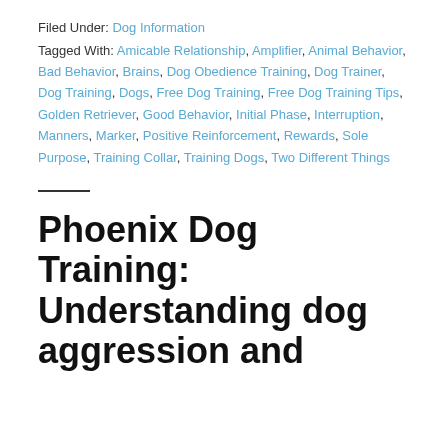Filed Under: Dog Information
Tagged With: Amicable Relationship, Amplifier, Animal Behavior, Bad Behavior, Brains, Dog Obedience Training, Dog Trainer, Dog Training, Dogs, Free Dog Training, Free Dog Training Tips, Golden Retriever, Good Behavior, Initial Phase, Interruption, Manners, Marker, Positive Reinforcement, Rewards, Sole Purpose, Training Collar, Training Dogs, Two Different Things
Phoenix Dog Training: Understanding dog aggression and